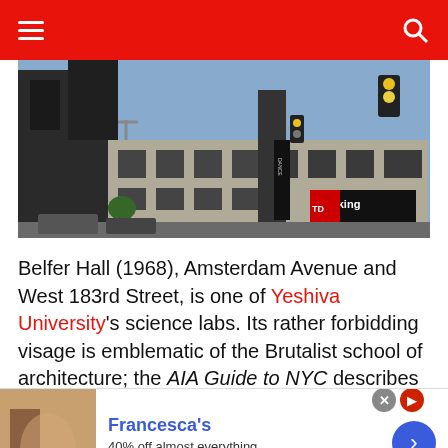Navigation bar with hamburger menu and search icon
[Figure (photo): Street-level photograph of Belfer Hall building at Yeshiva University, Amsterdam Avenue and West 183rd Street. Brutalist architecture with dark brick facade, parking sign visible, traffic lights overhead, blue sky.]
Belfer Hall (1968), Amsterdam Avenue and West 183rd Street, is one of Yeshiva University's science labs. Its rather forbidding visage is emblematic of the Brutalist school of architecture; the AIA Guide to NYC describes it as “monumental but hollow brick piers for a warehouse of science.” The building contains vents for the extensive